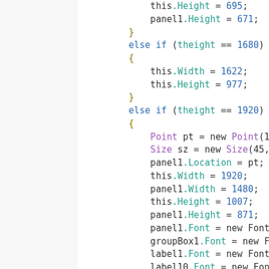Code snippet showing C# conditional block with screen resolution handling, including Height, Width assignments and Font assignments for panel1, groupBox1, label1, label10, label11, label12.